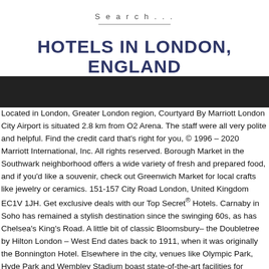Search...
HOTELS IN LONDON, ENGLAND
[Figure (photo): Dark banner image below the title heading]
Located in London, Greater London region, Courtyard By Marriott London City Airport is situated 2.8 km from O2 Arena. The staff were all very polite and helpful. Find the credit card that's right for you, © 1996 – 2020 Marriott International, Inc. All rights reserved. Borough Market in the Southwark neighborhood offers a wide variety of fresh and prepared food, and if you'd like a souvenir, check out Greenwich Market for local crafts like jewelry or ceramics. 151-157 City Road London, United Kingdom EC1V 1JH. Get exclusive deals with our Top Secret® Hotels. Carnaby in Soho has remained a stylish destination since the swinging 60s, as has Chelsea's King's Road. A little bit of classic Bloomsbury– the Doubletree by Hilton London – West End dates back to 1911, when it was originally the Bonnington Hotel. Elsewhere in the city, venues like Olympic Park, Hyde Park and Wembley Stadium boast state-of-the-art facilities for concert-goers and football fans. It's also ideally located for